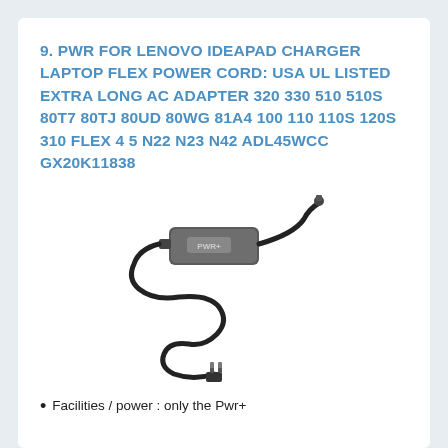9. PWR FOR LENOVO IDEAPAD CHARGER LAPTOP FLEX POWER CORD: USA UL LISTED EXTRA LONG AC ADAPTER 320 330 510 510S 80T7 80TJ 80UD 80WG 81A4 100 110 110S 120S 310 FLEX 4 5 N22 N23 N42 ADL45WCC GX20K11838
[Figure (photo): Product photo of a PWR+ brand laptop AC power adapter/charger with cable coiled below and a wall plug at the bottom.]
Facilities / power : only the Pwr+